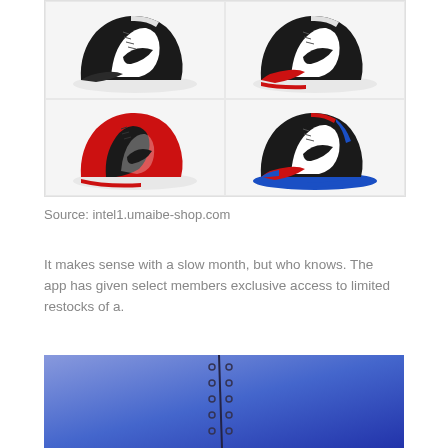[Figure (photo): Four Air Jordan 1 sneakers arranged in a 2x2 grid. Top-left: black/white colorway. Top-right: black/white/red colorway. Bottom-left: black/red colorway. Bottom-right: black/white/red/blue colorway (Top 3).]
Source: intel1.umaibe-shop.com
It makes sense with a slow month, but who knows. The app has given select members exclusive access to limited restocks of a.
[Figure (photo): Partial image with blue/purple gradient background showing what appears to be a shoe or product with small buckle/eyelet details arranged vertically.]